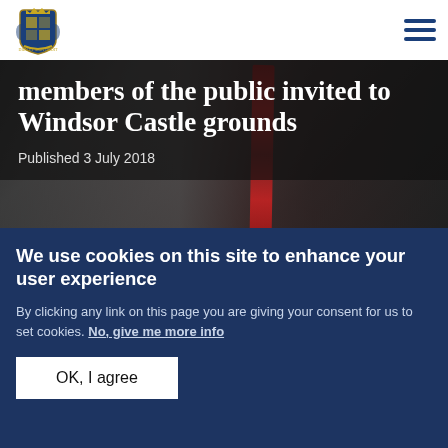[Royal Household logo / crest] [Hamburger menu icon]
members of the public invited to Windsor Castle grounds
Published 3 July 2018
[Figure (photo): Partially visible photograph showing a man in a dark suit with a patterned red tie]
We use cookies on this site to enhance your user experience
By clicking any link on this page you are giving your consent for us to set cookies. No, give me more info
OK, I agree